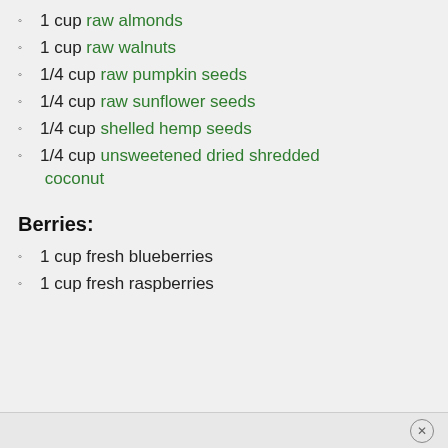1 cup raw almonds
1 cup raw walnuts
1/4 cup raw pumpkin seeds
1/4 cup raw sunflower seeds
1/4 cup shelled hemp seeds
1/4 cup unsweetened dried shredded coconut
Berries:
1 cup fresh blueberries
1 cup fresh raspberries